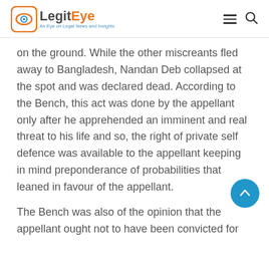LegitEye — An Eye on Legal News and Insights
on the ground. While the other miscreants fled away to Bangladesh, Nandan Deb collapsed at the spot and was declared dead. According to the Bench, this act was done by the appellant only after he apprehended an imminent and real threat to his life and so, the right of private self defence was available to the appellant keeping in mind preponderance of probabilities that leaned in favour of the appellant.
The Bench was also of the opinion that the appellant ought not to have been convicted for